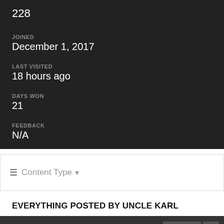228
JOINED
December 1, 2017
LAST VISITED
18 hours ago
DAYS WON
21
FEEDBACK
N/A
≡  Content Type ▼
EVERYTHING POSTED BY UNCLE KARL
«  PREV    Page 1 of 2    NEXT  »